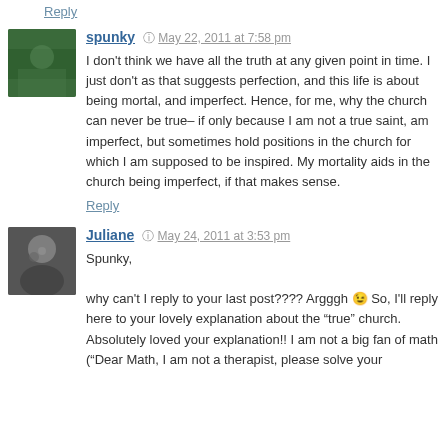Reply
spunky  May 22, 2011 at 7:58 pm
I don't think we have all the truth at any given point in time. I just don't as that suggests perfection, and this life is about being mortal, and imperfect. Hence, for me, why the church can never be true– if only because I am not a true saint, am imperfect, but sometimes hold positions in the church for which I am supposed to be inspired. My mortality aids in the church being imperfect, if that makes sense.
Reply
Juliane  May 24, 2011 at 3:53 pm
Spunky,
why can't I reply to your last post???? Argggh 😉 So, I'll reply here to your lovely explanation about the "true" church. Absolutely loved your explanation!! I am not a big fan of math ("Dear Math, I am not a therapist, please solve your